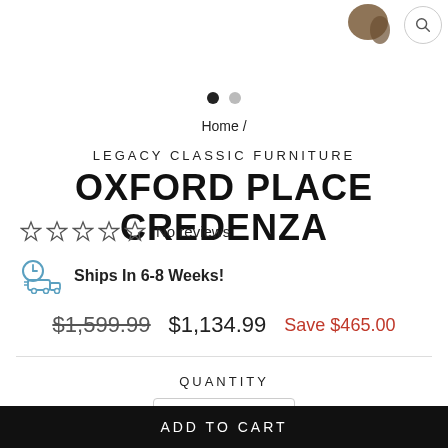[Figure (screenshot): Top portion of furniture product image with magnify button]
Home /
LEGACY CLASSIC FURNITURE
OXFORD PLACE CREDENZA
☆ ☆ ☆ ☆ ☆ No reviews
Ships In 6-8 Weeks!
$1,599.99  $1,134.99  Save $465.00
QUANTITY
- 1 +
ADD TO CART